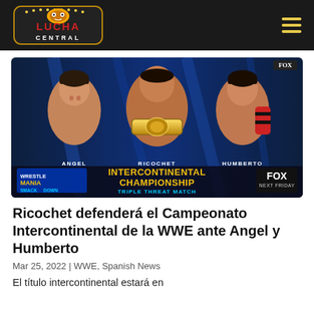Lucha Central
[Figure (photo): WWE SmackDown WrestleMania promotional graphic showing Angel, Ricochet (Intercontinental Champion with belt), and Humberto. Text reads INTERCONTINENTAL CHAMPIONSHIP TRIPLE THREAT MATCH, WrestleMania SmackDown, FOX NEXT FRIDAY.]
Ricochet defenderá el Campeonato Intercontinental de la WWE ante Angel y Humberto
Mar 25, 2022 | WWE, Spanish News
El título intercontinental estará en